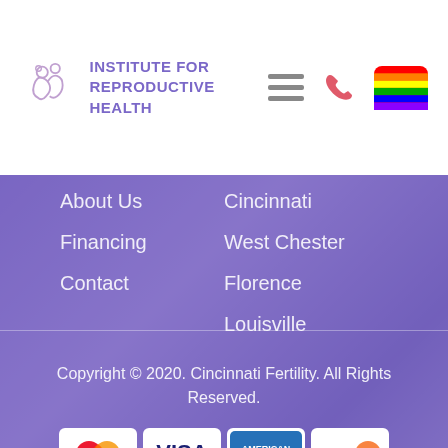[Figure (logo): Institute for Reproductive Health logo with stylized figures icon and text]
About Us
Financing
Contact
Cincinnati
West Chester
Florence
Louisville
Copyright © 2020. Cincinnati Fertility. All Rights Reserved.
[Figure (other): Payment method icons: Mastercard, Visa, American Express, Discover]
Terms & Conditions | Privacy